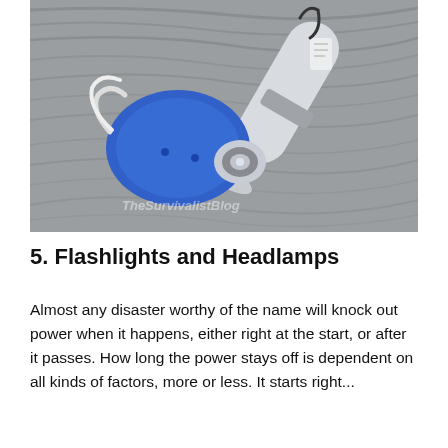[Figure (photo): Two flashlights on a grey wood-grain surface. On the left is a blue hand-crank dynamo flashlight with a white handle and wrist strap. On the right is a grey cylindrical flashlight with a black wrist strap and price tag. A watermark reads 'TheSurvivalistBlog'.]
5. Flashlights and Headlamps
Almost any disaster worthy of the name will knock out power when it happens, either right at the start, or after it passes. How long the power stays off is dependent on all kinds of factors, more or less. It starts right...